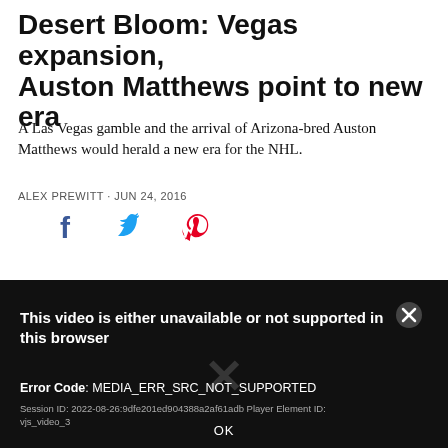Desert Bloom: Vegas expansion, Auston Matthews point to new era
A Las Vegas gamble and the arrival of Arizona-bred Auston Matthews would herald a new era for the NHL.
ALEX PREWITT · JUN 24, 2016
[Figure (other): Social sharing icons: Facebook (blue), Twitter (blue), Pinterest (red)]
[Figure (screenshot): Video player error message on black background. Text: 'This video is either unavailable or not supported in this browser'. Error Code: MEDIA_ERR_SRC_NOT_SUPPORTED. Session ID: 2022-08-26:9dfe201ed904388a2af61adb Player Element ID: vjs_video_3. OK button at bottom.]